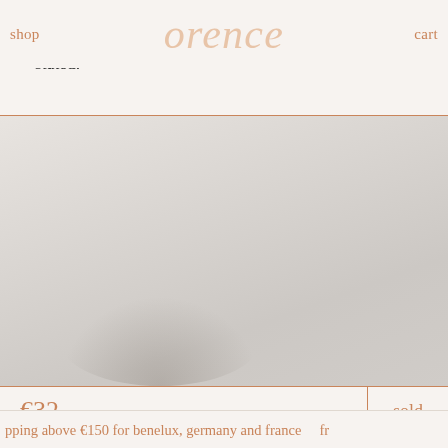shop   orence   cart
consistent with age and use, and are in good vintage condition without major damage unless otherwise stated.
[Figure (photo): Light grey product photo area with subtle shadow at bottom, showing vintage item on light background]
€32   sold
pping above €150 for benelux, germany and france   fr